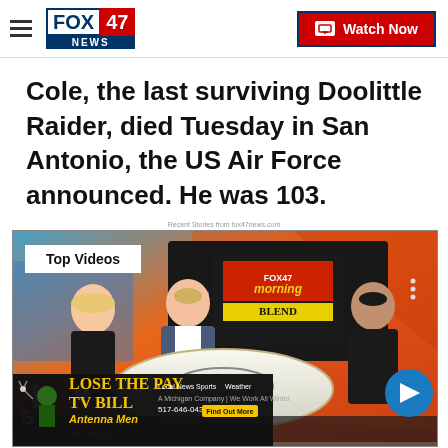FOX 47 NEWS — Watch Now
Cole, the last surviving Doolittle Raider, died Tuesday in San Antonio, the US Air Force announced. He was 103.
Recent Stories from fox47news.com
[Figure (screenshot): FOX 47 Morning Blend TV studio video player screenshot showing two hosts and a guest at a round table. Overlays include 'Top Videos' label, play/pause controls, mute icon, next arrow button, and an Antenna Men advertisement banner at bottom reading 'LOSE THE PAY TV BILL'.]